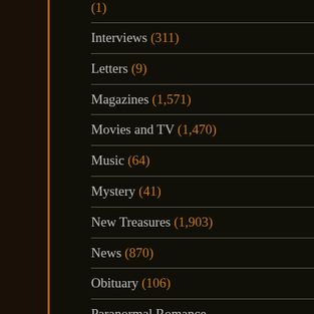Interviews (311)
Letters (9)
Magazines (1,571)
Movies and TV (1,470)
Music (64)
Mystery (41)
New Treasures (1,903)
News (870)
Obituary (106)
Paranormal Romance (45)